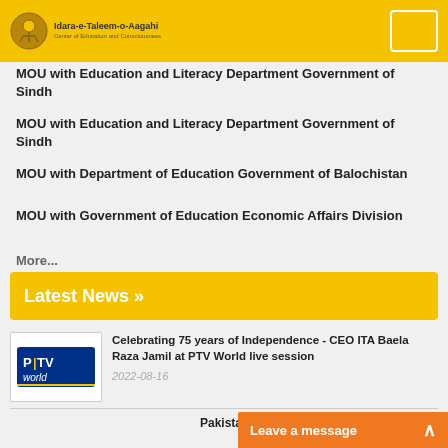Idara-e-Taleem-o-Aagahi — Center of Education and Consciousness
MOU with Education and Literacy Department Government of Sindh
MOU with Education and Literacy Department Government of Sindh
MOU with Department of Education Government of Balochistan
MOU with Government of Education Economic Affairs Division
More...
Latest News »
[Figure (logo): PTV World logo — blue and white logo with 'PTV world' text]
Celebrating 75 years of Independence - CEO ITA Baela Raza Jamil at PTV World live session
2022-08-16
Pakistan